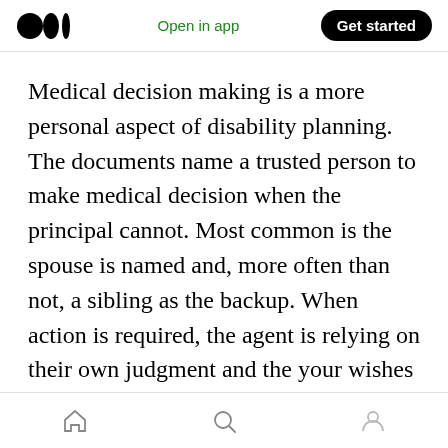Medium logo | Open in app | Get started
Medical decision making is a more personal aspect of disability planning. The documents name a trusted person to make medical decision when the principal cannot. Most common is the spouse is named and, more often than not, a sibling as the backup. When action is required, the agent is relying on their own judgment and the your wishes yet few actually discuss their wishes. The most useful discussion revolves around generalities since it's difficult to predict health issues; are less invasive options usually
Home | Search | Profile